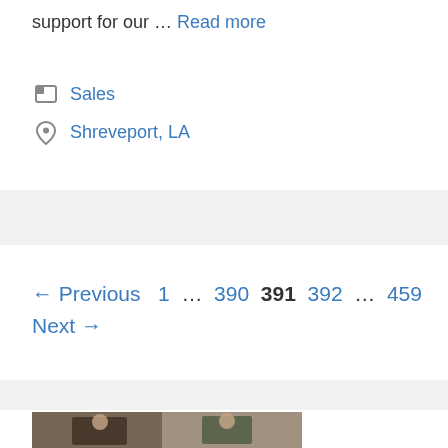support for our … Read more
Sales
Shreveport, LA
← Previous 1 … 390 391 392 … 459 Next →
[Figure (photo): Two people smiling, a man with a beard in a dark suit and a woman with curly hair, photographed together indoors.]